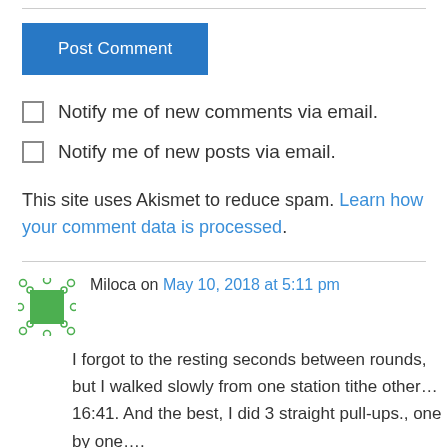Post Comment
Notify me of new comments via email.
Notify me of new posts via email.
This site uses Akismet to reduce spam. Learn how your comment data is processed.
Miloca on May 10, 2018 at 5:11 pm
I forgot to the resting seconds between rounds, but I walked slowly from one station tithe other… 16:41. And the best, I did 3 straight pull-ups., one by one….